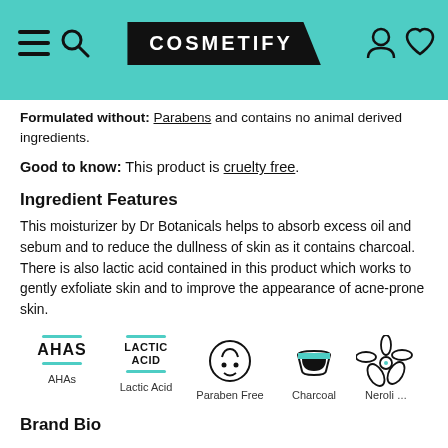COSMETIFY
Formulated without: Parabens and contains no animal derived ingredients.
Good to know: This product is cruelty free.
Ingredient Features
This moisturizer by Dr Botanicals helps to absorb excess oil and sebum and to reduce the dullness of skin as it contains charcoal. There is also lactic acid contained in this product which works to gently exfoliate skin and to improve the appearance of acne-prone skin.
[Figure (infographic): Row of ingredient icons: AHAs, Lactic Acid, Paraben Free, Charcoal, Neroli (partially visible)]
Brand Bio